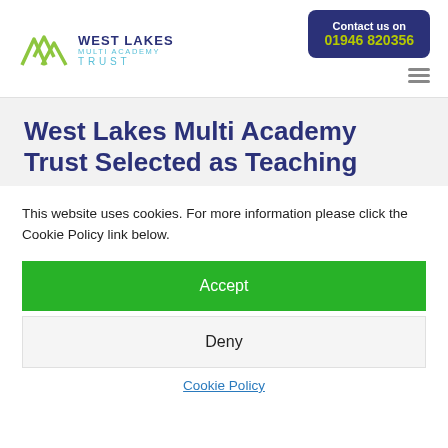[Figure (logo): West Lakes Multi Academy Trust logo with mountain peaks graphic in olive/yellow-green, text 'WEST LAKES MULTI ACADEMY TRUST' in navy and teal]
Contact us on 01946 820356
West Lakes Multi Academy Trust Selected as Teaching
This website uses cookies. For more information please click the Cookie Policy link below.
Accept
Deny
Cookie Policy